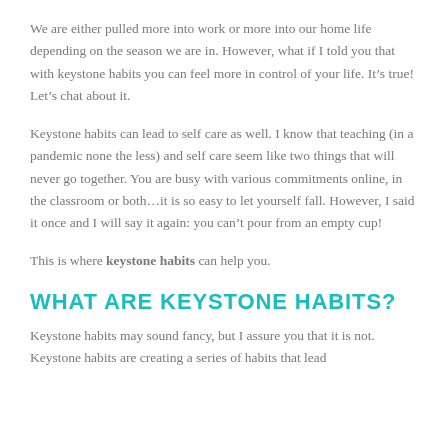We are either pulled more into work or more into our home life depending on the season we are in. However, what if I told you that with keystone habits you can feel more in control of your life. It’s true! Let’s chat about it.
Keystone habits can lead to self care as well. I know that teaching (in a pandemic none the less) and self care seem like two things that will never go together. You are busy with various commitments online, in the classroom or both…it is so easy to let yourself fall. However, I said it once and I will say it again: you can’t pour from an empty cup!
This is where keystone habits can help you.
WHAT ARE KEYSTONE HABITS?
Keystone habits may sound fancy, but I assure you that it is not. Keystone habits are creating a series of habits that lead